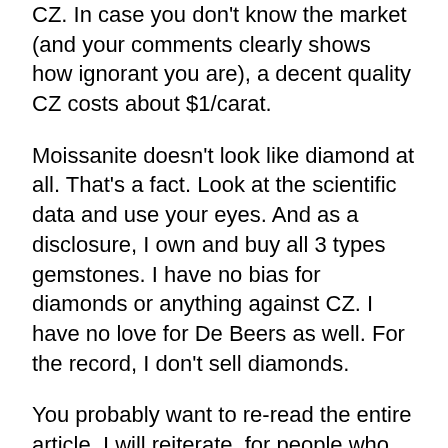CZ. In case you don't know the market (and your comments clearly shows how ignorant you are), a decent quality CZ costs about $1/carat.
Moissanite doesn't look like diamond at all. That's a fact. Look at the scientific data and use your eyes. And as a disclosure, I own and buy all 3 types gemstones. I have no bias for diamonds or anything against CZ. I have no love for De Beers as well. For the record, I don't sell diamonds.
You probably want to re-read the entire article. I will reiterate, for people who are looking for alternatives, moissanite is pricey and doesn't have the performance